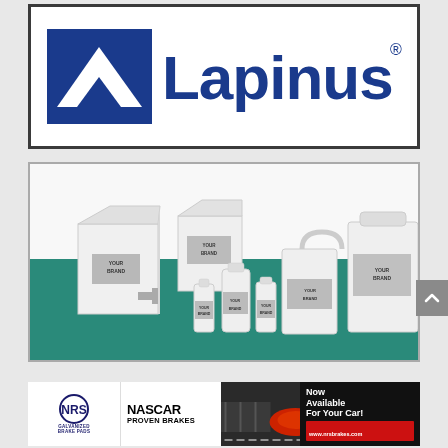[Figure (logo): Lapinus logo: blue mountain/triangle icon on left with white triangles, large blue 'Lapinus' text on right with registered trademark symbol, inside a bordered white box]
[Figure (photo): Product photo showing various white plastic containers and bottles of different sizes arranged on a teal/green background. Each container has a gray label placeholder reading 'YOUR BRAND'. Inside a white bordered box.]
[Figure (photo): NRS Galvanized Brake Pads advertisement banner. Shows NRS logo on left with text 'GALVANIZED BRAKE PADS', NASCAR PROVEN BRAKES text in center, photo of brake pads and racing car on dark background, red banner with 'Now Available For Your Car!' and 'www.nrsbrakes.com']